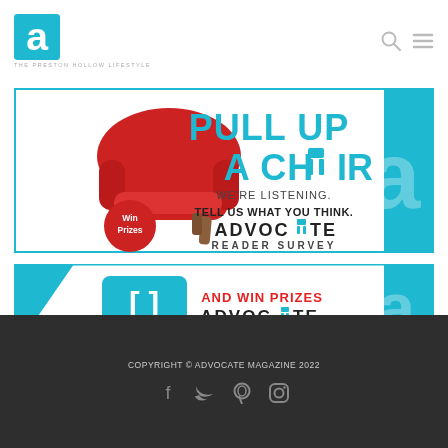THE PRESTON HOLLOW LIFESTYLE
[Figure (advertisement): Advocate Reader Survey banner ad with red armchair, text 'PULL UP A CHAIR - WE'RE LISTENING. TELL US WHAT YOU THINK. ADVOCATE READER SURVEY', Win Prizes badge]
[Figure (advertisement): Advocate Reader Survey secondary banner ad with speech bubble icon, 'AND WIN PRIZES ADVOCATE READER SURVEY']
COPYRIGHT © ADVOCATE MAGAZINE 2022